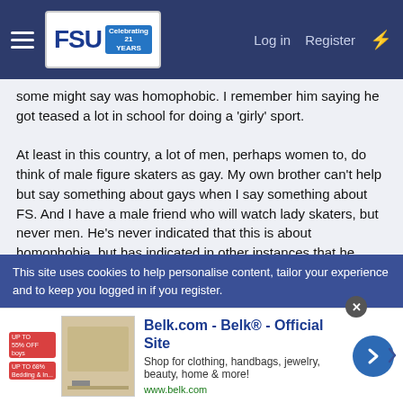FSU 21 Years — Log in | Register
some might say was homophobic. I remember him saying he got teased a lot in school for doing a 'girly' sport.

At least in this country, a lot of men, perhaps women to, do think of male figure skaters as gay. My own brother can't help but say something about gays when I say something about FS. And I have a male friend who will watch lady skaters, but never men. He's never indicated that this is about homophobia, but has indicated in other instances that he might be homophobic.
Lemonade20 said:
Wow, you're hard on Elvis. His choice of words may not have been the best, but I'm glad he brought something different to the table.
This site uses cookies to help personalise content, tailor your experience and to keep you logged in if you register.
[Figure (screenshot): Belk.com advertisement banner with logo, text 'Belk® - Official Site', subtext 'Shop for clothing, handbags, jewelry, beauty, home & more!' and URL 'www.belk.com']